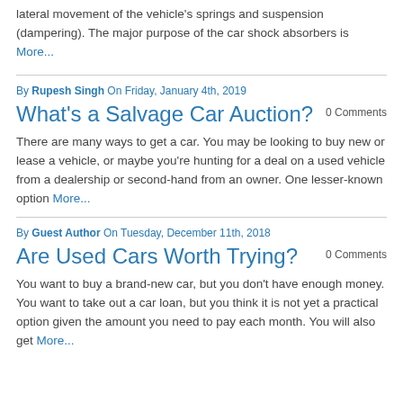lateral movement of the vehicle's springs and suspension (dampering). The major purpose of the car shock absorbers is More...
By Rupesh Singh On Friday, January 4th, 2019
What's a Salvage Car Auction?
0 Comments
There are many ways to get a car. You may be looking to buy new or lease a vehicle, or maybe you're hunting for a deal on a used vehicle from a dealership or second-hand from an owner. One lesser-known option More...
By Guest Author On Tuesday, December 11th, 2018
Are Used Cars Worth Trying?
0 Comments
You want to buy a brand-new car, but you don't have enough money. You want to take out a car loan, but you think it is not yet a practical option given the amount you need to pay each month. You will also get More...